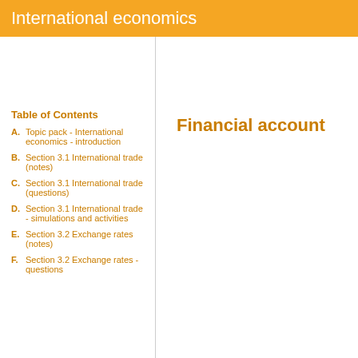International economics
Table of Contents
A. Topic pack - International economics - introduction
B. Section 3.1 International trade (notes)
C. Section 3.1 International trade (questions)
D. Section 3.1 International trade - simulations and activities
E. Section 3.2 Exchange rates (notes)
F. Section 3.2 Exchange rates - questions
Financial account